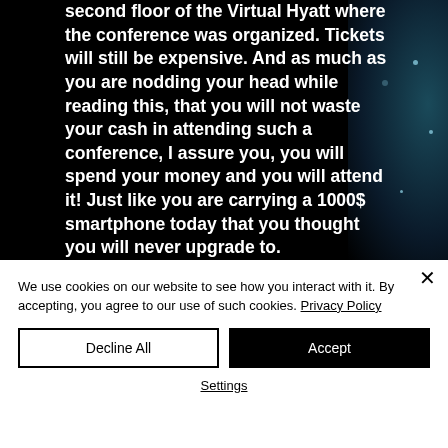second floor of the Virtual Hyatt where the conference was organized. Tickets will still be expensive. And as much as you are nodding your head while reading this, that you will not waste your cash in attending such a conference, I assure you, you will spend your money and you will attend it! Just like you are carrying a 1000$ smartphone today that you thought you will never upgrade to.
We use cookies on our website to see how you interact with it. By accepting, you agree to our use of such cookies. Privacy Policy
Decline All
Accept
Settings